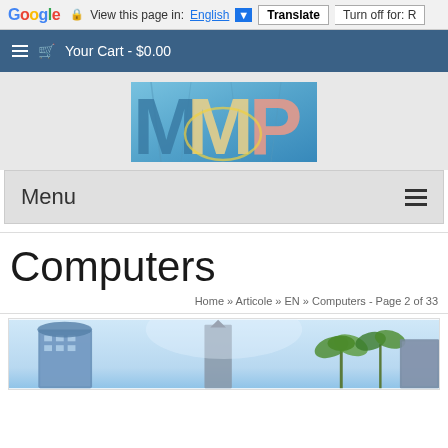Google — View this page in: English [▼] | Translate | Turn off for: R
≡ 🛒 Your Cart - $0.00
[Figure (logo): MMP colorful logo banner with letters M, M, P overlaid on a blue/aqua background showing an airport or atrium interior]
Menu
Computers
Home » Articole » EN » Computers - Page 2 of 33
[Figure (photo): City skyline photo showing tall modern buildings and palm trees against a bright sky]